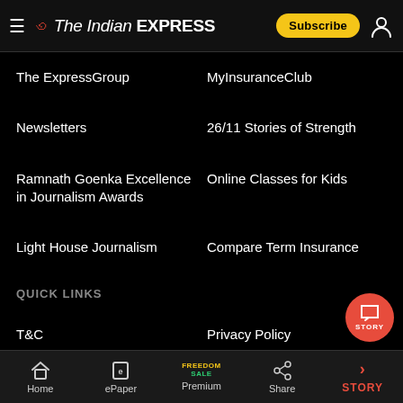The Indian EXPRESS — Subscribe
The ExpressGroup
MyInsuranceClub
Newsletters
26/11 Stories of Strength
Ramnath Goenka Excellence in Journalism Awards
Online Classes for Kids
Light House Journalism
Compare Term Insurance
QUICK LINKS
T&C
Privacy Policy
Advertise with Us
Brand Solutions
Home   ePaper   Premium   Share   STORY